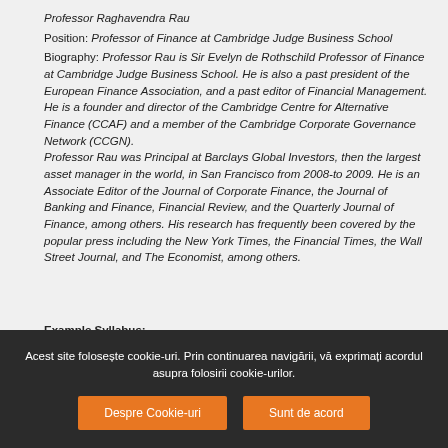Professor Raghavendra Rau
Position: Professor of Finance at Cambridge Judge Business School
Biography: Professor Rau is Sir Evelyn de Rothschild Professor of Finance at Cambridge Judge Business School. He is also a past president of the European Finance Association, and a past editor of Financial Management. He is a founder and director of the Cambridge Centre for Alternative Finance (CCAF) and a member of the Cambridge Corporate Governance Network (CCGN). Professor Rau was Principal at Barclays Global Investors, then the largest asset manager in the world, in San Francisco from 2008-to 2009. He is an Associate Editor of the Journal of Corporate Finance, the Journal of Banking and Finance, Financial Review, and the Quarterly Journal of Finance, among others. His research has frequently been covered by the popular press including the New York Times, the Financial Times, the Wall Street Journal, and The Economist, among others.
Example Syllabus:
1. Overview of Finance and Economics Institutions
Acest site folosește cookie-uri. Prin continuarea navigării, vă exprimați acordul asupra folosirii cookie-urilor.
Despre Cookie-uri | Sunt de acord